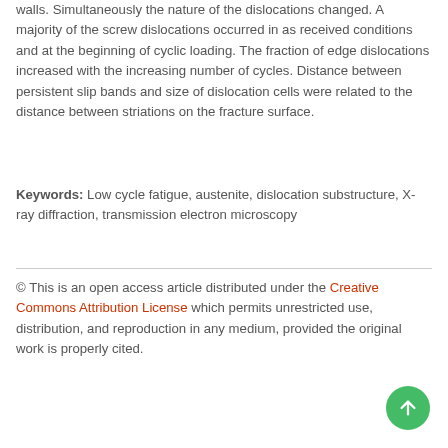walls. Simultaneously the nature of the dislocations changed. A majority of the screw dislocations occurred in as received conditions and at the beginning of cyclic loading. The fraction of edge dislocations increased with the increasing number of cycles. Distance between persistent slip bands and size of dislocation cells were related to the distance between striations on the fracture surface.
Keywords: Low cycle fatigue, austenite, dislocation substructure, X-ray diffraction, transmission electron microscopy
© This is an open access article distributed under the Creative Commons Attribution License which permits unrestricted use, distribution, and reproduction in any medium, provided the original work is properly cited.